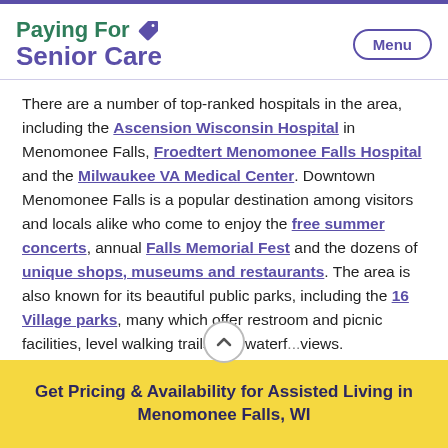Paying For Senior Care — Menu
There are a number of top-ranked hospitals in the area, including the Ascension Wisconsin Hospital in Menomonee Falls, Froedtert Menomonee Falls Hospital and the Milwaukee VA Medical Center. Downtown Menomonee Falls is a popular destination among visitors and locals alike who come to enjoy the free summer concerts, annual Falls Memorial Fest and the dozens of unique shops, museums and restaurants. The area is also known for its beautiful public parks, including the 16 Village parks, many which offer restroom and picnic facilities, level walking trails and waterf... views.
Get Pricing & Availability for Assisted Living in Menomonee Falls, WI